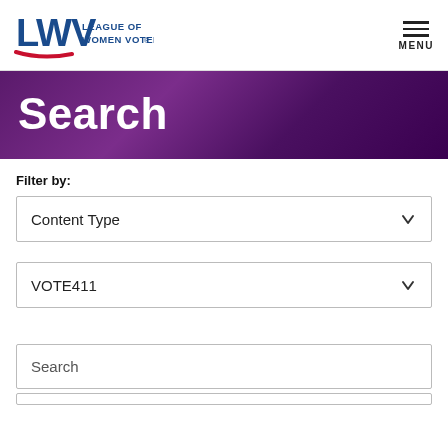[Figure (logo): League of Women Voters logo with LWV letters in blue and red swoosh, text LEAGUE OF WOMEN VOTERS to the right]
Search
Filter by:
Content Type
VOTE411
Search